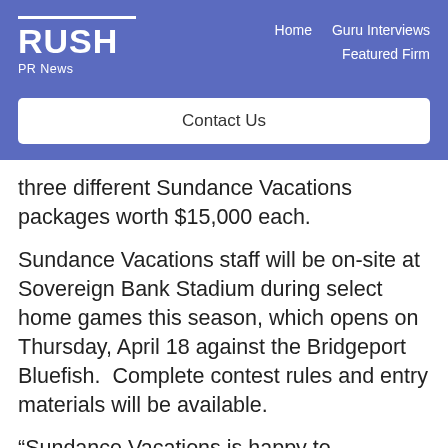RUSH PR News | Home | Guru Interviews | Featured Firm
Contact Us
three different Sundance Vacations packages worth $15,000 each.
Sundance Vacations staff will be on-site at Sovereign Bank Stadium during select home games this season, which opens on Thursday, April 18 against the Bridgeport Bluefish.  Complete contest rules and entry materials will be available.
“Sundance Vacations is happy to